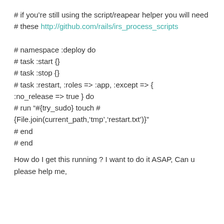# if you’re still using the script/reapear helper you will need
# these http://github.com/rails/irs_process_scripts

# namespace :deploy do
# task :start {}
# task :stop {}
# task :restart, :roles => :app, :except => { :no_release => true } do
# run “#{try_sudo} touch #{File.join(current_path,‘tmp’,‘restart.txt’)}”
# end
# end
How do I get this running ? I want to do it ASAP, Can u please help me,